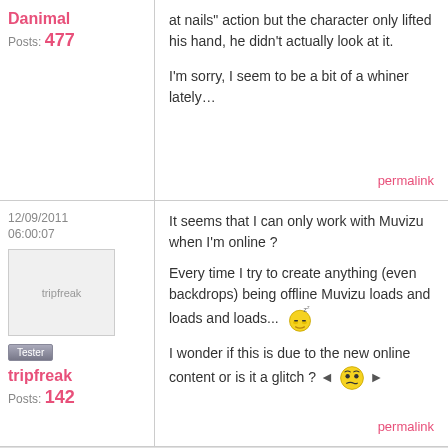Danimal
Posts: 477
at nails" action but the character only lifted his hand, he didn't actually look at it.

I'm sorry, I seem to be a bit of a whiner lately...
permalink
12/09/2011 06:00:07
[Figure (photo): tripfreak avatar placeholder image]
Tester badge
tripfreak
Posts: 142
It seems that I can only work with Muvizu when I'm online ?

Every time I try to create anything (even backdrops) being offline Muvizu loads and loads and loads... [sleeping emoji]

I wonder if this is due to the new online content or is it a glitch ? [confused emoji]
permalink